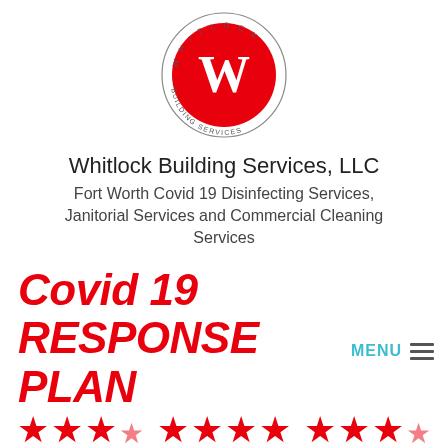[Figure (logo): Whitlock Building Services circular logo with red circle containing white W letter and text around the border reading WHITLOCK BUILDING SERVICES]
Whitlock Building Services, LLC Fort Worth Covid 19 Disinfecting Services, Janitorial Services and Commercial Cleaning Services
Covid 19 RESPONSE PLAN
MENU
[Figure (illustration): Three groups of red star icons partially visible at the bottom of the page]